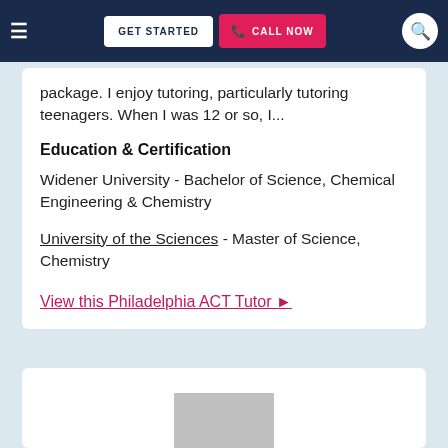GET STARTED | CALL NOW
package. I enjoy tutoring, particularly tutoring teenagers. When I was 12 or so, I...
Education & Certification
Widener University - Bachelor of Science, Chemical Engineering & Chemistry
University of the Sciences - Master of Science, Chemistry
View this Philadelphia ACT Tutor ►